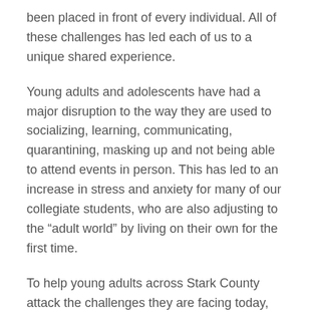been placed in front of every individual. All of these challenges has led each of us to a unique shared experience.
Young adults and adolescents have had a major disruption to the way they are used to socializing, learning, communicating, quarantining, masking up and not being able to attend events in person. This has led to an increase in stress and anxiety for many of our collegiate students, who are also adjusting to the “adult world” by living on their own for the first time.
To help young adults across Stark County attack the challenges they are facing today, Child and Adolescent Behavioral Health (C&A) is presenting its third annual Collegiate Mental Health Day on each